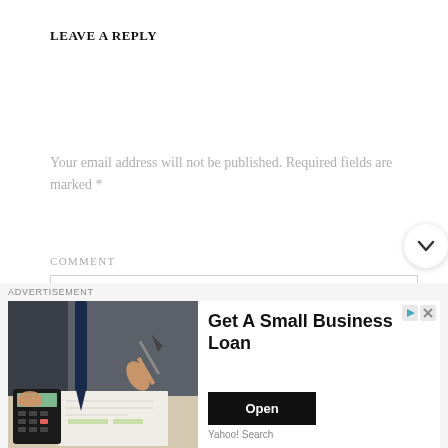LEAVE A REPLY
Your email address will not be published. Required fields are marked *
COMMENT
[Figure (screenshot): Empty comment text area box with light border]
ADVERTISEMENT
[Figure (photo): Person writing and using calculator at desk, business finance context]
Get A Small Business Loan
Open
Yahoo! Search